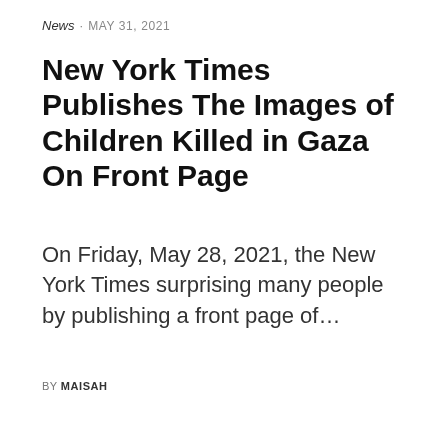News · MAY 31, 2021
New York Times Publishes The Images of Children Killed in Gaza On Front Page
On Friday, May 28, 2021, the New York Times surprising many people by publishing a front page of…
BY MAISAH